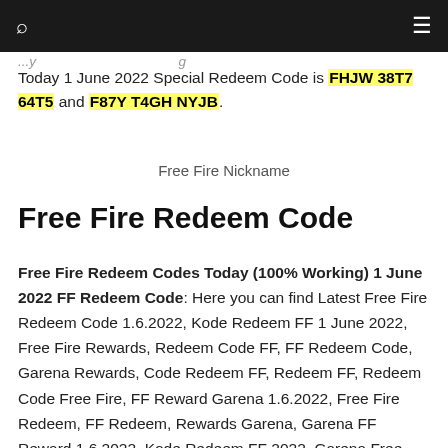navigation bar with search icon and menu icon
Today 1 June 2022 Special Redeem Code is FHJW 38T7 64T5 and F87Y T4GH NYJB.
Free Fire Nickname
Free Fire Redeem Code
Free Fire Redeem Codes Today (100% Working) 1 June 2022 FF Redeem Code: Here you can find Latest Free Fire Redeem Code 1.6.2022, Kode Redeem FF 1 June 2022, Free Fire Rewards, Redeem Code FF, FF Redeem Code, Garena Rewards, Code Redeem FF, Redeem FF, Redeem Code Free Fire, FF Reward Garena 1.6.2022, Free Fire Redeem, FF Redeem, Rewards Garena, Garena FF Reward 1.6.2022, Kode Redeem FF 2022, Garena Free Fire Redeem Codes 1 June 2022, Free Fire Redemption site, Free Fire Redeem Code